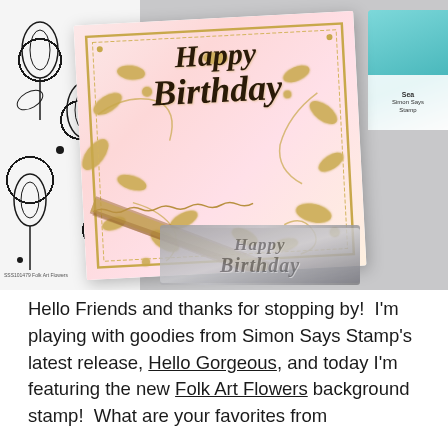[Figure (photo): A handmade birthday card with 'Happy Birthday' script on a pink background with gold floral/leaf embossing and a gold scalloped border frame. On the left is black and white floral stamp paper, on the right is a teal Simon Says Stamp ink pad. Below the card is a grey metal die cut of 'Happy Birthday' text. The scene is on a light grey surface.]
Hello Friends and thanks for stopping by!  I'm playing with goodies from Simon Says Stamp's latest release, Hello Gorgeous, and today I'm featuring the new Folk Art Flowers background stamp!  What are your favorites from